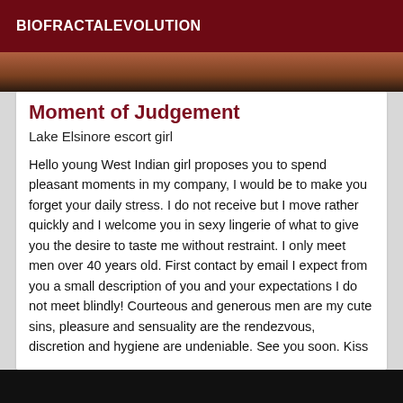BIOFRACTALEVOLUTION
[Figure (photo): Partial photograph visible at top, warm toned, appears to show a hand or person in close-up, dark background]
Moment of Judgement
Lake Elsinore escort girl
Hello young West Indian girl proposes you to spend pleasant moments in my company, I would be to make you forget your daily stress. I do not receive but I move rather quickly and I welcome you in sexy lingerie of what to give you the desire to taste me without restraint. I only meet men over 40 years old. First contact by email I expect from you a small description of you and your expectations I do not meet blindly! Courteous and generous men are my cute sins, pleasure and sensuality are the rendezvous, discretion and hygiene are undeniable. See you soon. Kiss
[Figure (photo): Dark photograph strip at the bottom of the page, mostly black]